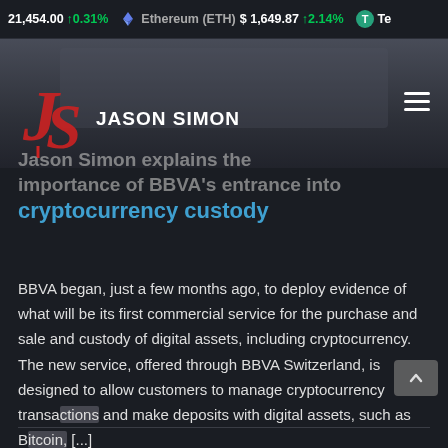21,454.00 ↑0.31%   Ethereum (ETH) $1,649.87 ↑2.14%   Te
[Figure (logo): Jason Simon logo: red stylized JS monogram with JASON SIMON text in white bold below]
Jason Simon explains the importance of BBVA's entrance into cryptocurrency custody
BBVA began, just a few months ago, to deploy evidence of what will be its first commercial service for the purchase and sale and custody of digital assets, including cryptocurrency. The new service, offered through BBVA Switzerland, is designed to allow customers to manage cryptocurrency transactions and make deposits with digital assets, such as Bitcoin, [...]